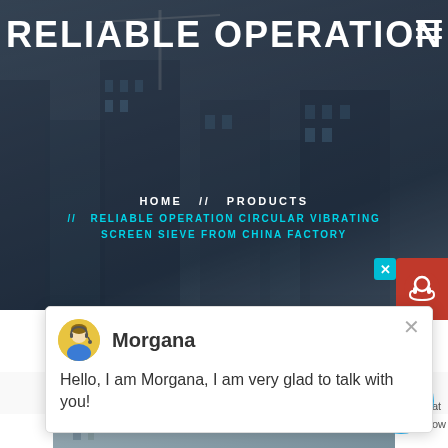RELIABLE OPERATION CIRCULA
HOME // PRODUCTS // RELIABLE OPERATION CIRCULAR VIBRATING SCREEN SIEVE FROM CHINA FACTORY
[Figure (screenshot): Chat widget popup with avatar of Morgana and greeting message]
Latest Projects
[Figure (photo): Industrial vibrating screen sieve machinery in a factory setting]